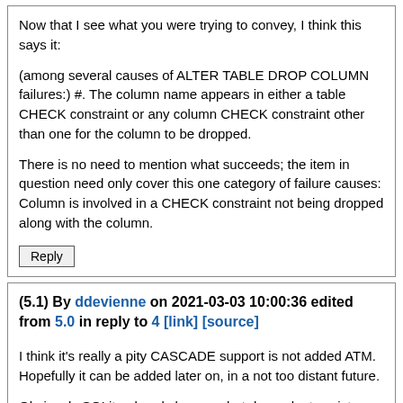Now that I see what you were trying to convey, I think this says it:
(among several causes of ALTER TABLE DROP COLUMN failures:) #. The column name appears in either a table CHECK constraint or any column CHECK constraint other than one for the column to be dropped.
There is no need to mention what succeeds; the item in question need only cover this one category of failure causes: Column is involved in a CHECK constraint not being dropped along with the column.
Reply
(5.1) By ddevienne on 2021-03-03 10:00:36 edited from 5.0 in reply to 4 [link] [source]
I think it's really a pity CASCADE support is not added ATM. Hopefully it can be added later on, in a not too distant future.
Obviously SQLite already knows what dependents exists, otherwise
RENAME COLUMN wouldn't work as it does, so deleting those